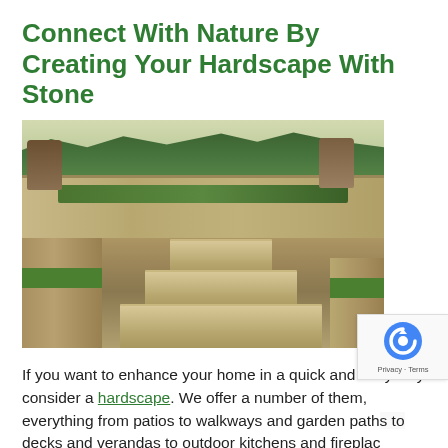Connect With Nature By Creating Your Hardscape With Stone
[Figure (photo): Outdoor stone hardscape with steps, retaining walls, planters, and garden landscaping in front of a house]
If you want to enhance your home in a quick and easy way consider a hardscape. We offer a number of them, everything from patios to walkways and garden paths to decks and verandas to outdoor kitchens and fireplaces.
No matter what you require, Twin Oaks can help. However,